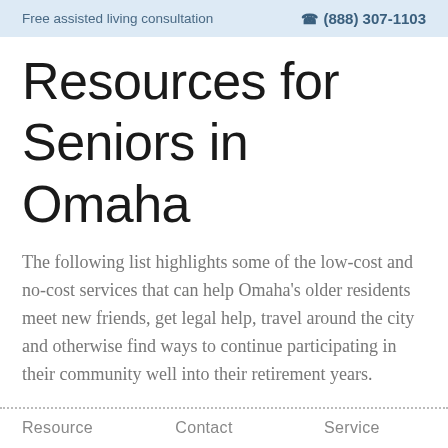Free assisted living consultation   ☎ (888) 307-1103
Resources for Seniors in Omaha
The following list highlights some of the low-cost and no-cost services that can help Omaha's older residents meet new friends, get legal help, travel around the city and otherwise find ways to continue participating in their community well into their retirement years.
| Resource | Contact | Service |
| --- | --- | --- |